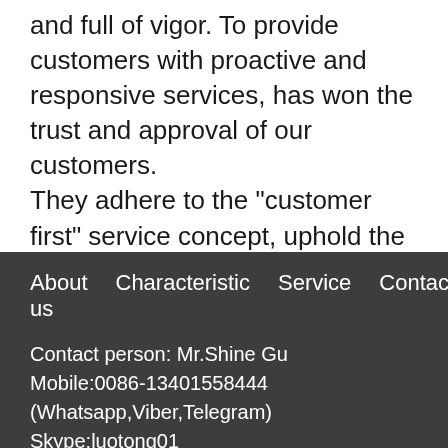and full of vigor. To provide customers with proactive and responsive services, has won the trust and approval of our customers.
They adhere to the "customer first" service concept, uphold the principles of integrity, standardization, enthusiasm and efficiency, and respond to customer needs 24 hours a day. Every little thing of the customer is a major event of "Yuanfong", we will do our best to serve each customer with heart.
About us   Characteristic   Service   Contact
Contact person: Mr.Shine Gu
Mobile:0086-13401558444 (Whatsapp,Viber,Telegram)
Skype:luotong01
Website: www.czluotong.com / www.yfpress.com
E-mail:shine@yfpress.com